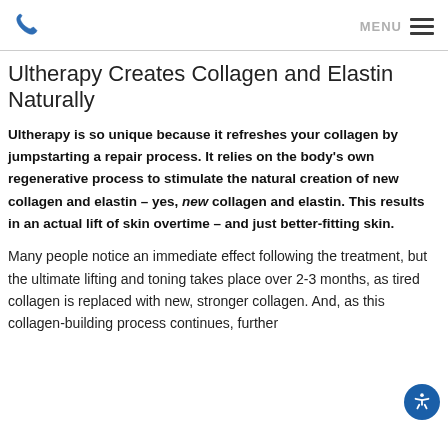MENU
Ultherapy Creates Collagen and Elastin Naturally
Ultherapy is so unique because it refreshes your collagen by jumpstarting a repair process. It relies on the body's own regenerative process to stimulate the natural creation of new collagen and elastin – yes, new collagen and elastin. This results in an actual lift of skin overtime – and just better-fitting skin.
Many people notice an immediate effect following the treatment, but the ultimate lifting and toning takes place over 2-3 months, as tired collagen is replaced with new, stronger collagen. And, as this collagen-building process continues, further